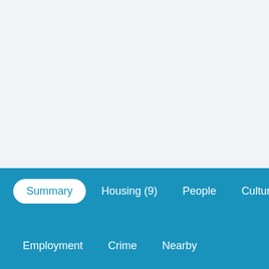Summary | Housing (9) | People | Culture | Employment | Crime | Nearby